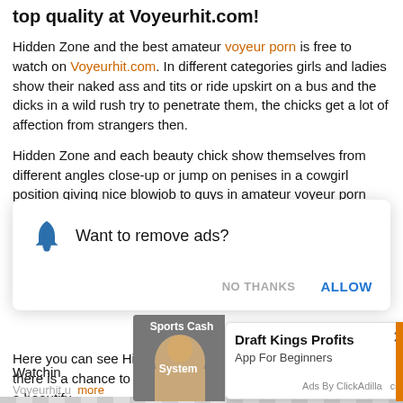top quality at Voyeurhit.com!
Hidden Zone and the best amateur voyeur porn is free to watch on Voyeurhit.com. In different categories girls and ladies show their naked ass and tits or ride upskirt on a bus and the dicks in a wild rush try to penetrate them, the chicks get a lot of affection from strangers then.
Hidden Zone and each beauty chick show themselves from different angles close-up or jump on penises in a cowgirl position giving nice blowjob to guys in amateur voyeur porn movies. It is not
[Figure (screenshot): Browser notification popup asking 'Want to remove ads?' with NO THANKS and ALLOW buttons]
Here you can see Hidden Zone, sex in Full HD quality, where there is a chance to see even the smallest detail of the body of a beautifu
Watchin
Voyeurhit u more
[Figure (screenshot): Ad popup: Sports Cash System image on left, Draft Kings Profits App For Beginners on right, with Ads By ClickAdilla label]